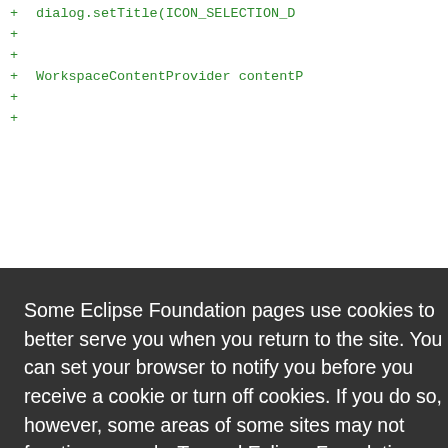[Figure (screenshot): Code editor screenshot showing green diff lines with + markers and code including dialog.setTitle(ICON_SELECTION_D..., WorkspaceContentProvider contentP..., Empty(), ve been c..., setExtens..., iters, < Math.r..., rovider.a..., r(contentf..., labelProv..., & currentf..., 1Selectio..., and more plus lines at bottom]
Some Eclipse Foundation pages use cookies to better serve you when you return to the site. You can set your browser to notify you before you receive a cookie or turn off cookies. If you do so, however, some areas of some sites may not function properly. To read Eclipse Foundation Privacy Policy
click here.
Decline
Allow cookies